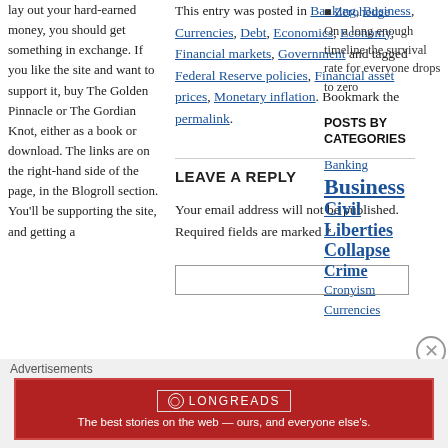lay out your hard-earned money, you should get something in exchange. If you like the site and want to support it, buy The Golden Pinnacle or The Gordian Knot, either as a book or download. The links are on the right-hand side of the page, in the Blogroll section. You'll be supporting the site, and getting a
This entry was posted in Banking, Business, Currencies, Debt, Economics, Economy, Financial markets, Government and tagged Federal Reserve policies, Financial asset prices, Monetary inflation. Bookmark the permalink.
LEAVE A REPLY
Your email address will not be published. Required fields are marked *
Zerohedge
On a long enough timeline the survival rate for everyone drops to zero
POSTS BY CATEGORIES
Banking
Business
Civil Liberties
Collapse
Crime
Cronyism
Currencies
Advertisements
[Figure (other): Longreads advertisement banner: red background, logo and tagline 'The best stories on the web — ours, and everyone else's.']